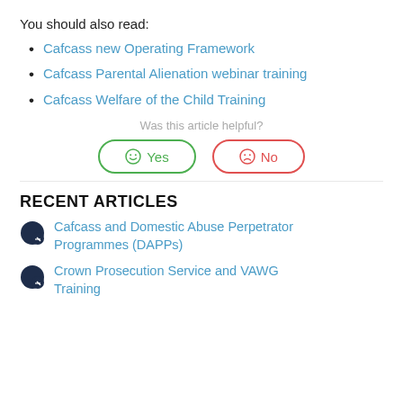You should also read:
Cafcass new Operating Framework
Cafcass Parental Alienation webinar training
Cafcass Welfare of the Child Training
Was this article helpful?
[Figure (other): Yes and No feedback buttons with smiley/sad face icons in green and red pill-shaped borders]
RECENT ARTICLES
Cafcass and Domestic Abuse Perpetrator Programmes (DAPPs)
Crown Prosecution Service and VAWG Training